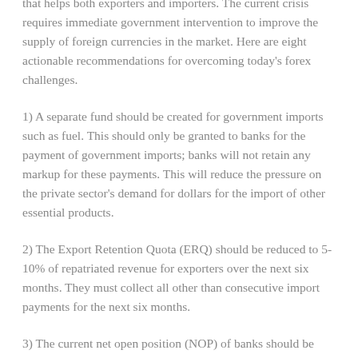that helps both exporters and importers. The current crisis requires immediate government intervention to improve the supply of foreign currencies in the market. Here are eight actionable recommendations for overcoming today's forex challenges.
1) A separate fund should be created for government imports such as fuel. This should only be granted to banks for the payment of government imports; banks will not retain any markup for these payments. This will reduce the pressure on the private sector's demand for dollars for the import of other essential products.
2) The Export Retention Quota (ERQ) should be reduced to 5-10% of repatriated revenue for exporters over the next six months. They must collect all other than consecutive import payments for the next six months.
3) The current net open position (NOP) of banks should be reduced by 50% immediately to inject currency flows into the market. Seventy-five percent of the existing NOP should be immediately sold